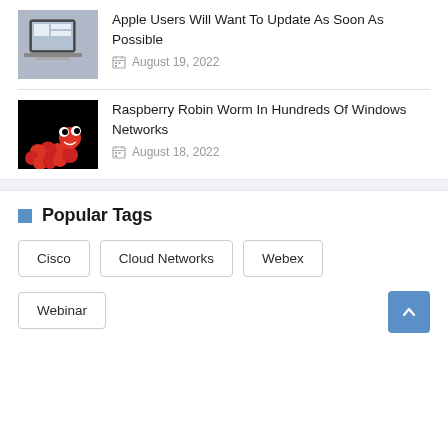Apple Users Will Want To Update As Soon As Possible
August 19, 2022
Raspberry Robin Worm In Hundreds Of Windows Networks
August 18, 2022
Popular Tags
Cisco
Cloud Networks
Webex
Webinar